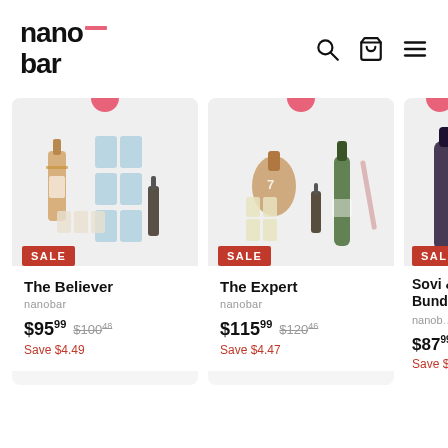nano bar — navigation with search, cart, and menu icons
[Figure (photo): Product card: The Believer bundle with alcohol-free spirits and mixers. SALE badge. Price $95.99, was $100.48, Save $4.49.]
[Figure (photo): Product card: The Expert bundle with bottles and mixers. SALE badge. Price $115.99, was $120.46, Save $4.47.]
[Figure (photo): Product card: Sovi & Bundle (partial). SALE badge. Price $87.99+. Save $.]
The Believer
nanobar
$95.99  $100.48  Save $4.49
The Expert
nanobar
$115.99  $120.46  Save $4.47
Sovi & Bund…
nanob…
$87.99…  Save $…